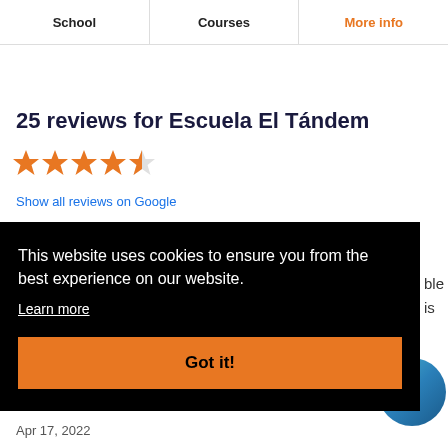School | Courses | More info
25 reviews for Escuela El Tándem
[Figure (other): 4.5 star rating shown with orange filled stars]
Show all reviews on Google
This website uses cookies to ensure you from the best experience on our website.
Learn more
Got it!
ble
is
Apr 17, 2022